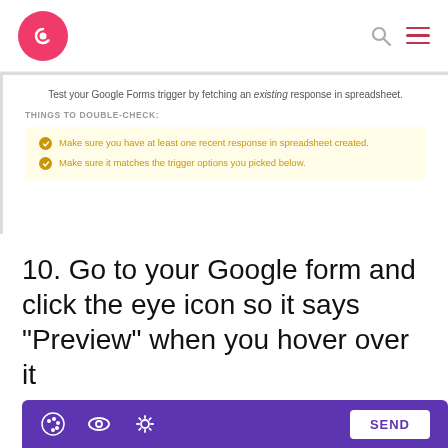Creditly logo with navigation icons
Test your Google Forms trigger by fetching an existing response in spreadsheet.
THINGS TO DOUBLE-CHECK:
Make sure you have at least one recent response in spreadsheet created.
Make sure it matches the trigger options you picked below.
10. Go to your Google form and click the eye icon so it says "Preview" when you hover over it
[Figure (screenshot): Google Forms interface showing palette icon, eye icon, settings gear icon, and SEND button on a purple background]